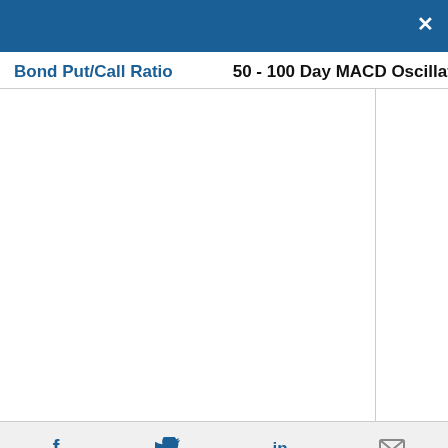×
Bond Put/Call Ratio
50 - 100 Day MACD Oscillator
[Figure (other): Empty two-panel chart area for Bond Put/Call Ratio and 50-100 Day MACD Oscillator. Left panel is wider, right panel is narrower, separated by a vertical line.]
f  (Twitter bird)  in  (envelope)